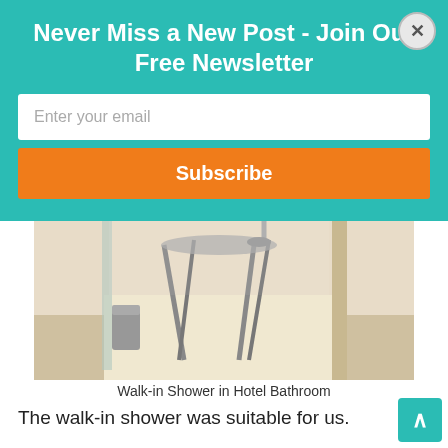Never Miss a New Post - Join Our Free Newsletter
Enter your email
Subscribe
[Figure (photo): Walk-in shower with portable shower stool inside a glass-enclosed hotel bathroom shower stall]
Walk-in Shower in Hotel Bathroom
The walk-in shower was suitable for us.
The step into the shower was okay for Bridget but could be difficult for some. There was a portable shower stool so Bridget could sit in the shower. The s…